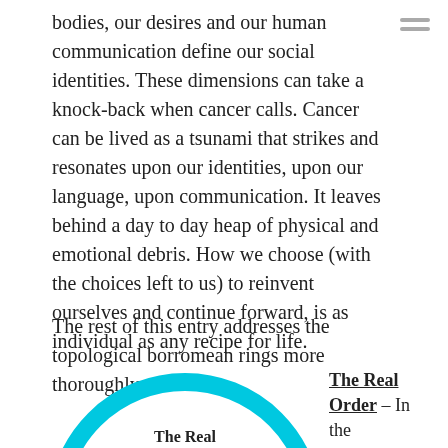bodies, our desires and our human communication define our social identities. These dimensions can take a knock-back when cancer calls. Cancer can be lived as a tsunami that strikes and resonates upon our identities, upon our language, upon communication. It leaves behind a day to day heap of physical and emotional debris. How we choose (with the choices left to us) to reinvent ourselves and continue forward, is as individual as any recipe for life.
The rest of this entry addresses the topological borromean rings more thoroughly.
[Figure (illustration): Partial view of a Borromean rings diagram showing a large cyan/turquoise ring with text 'The Real' visible at the bottom inside the ring. A sidebar on the right shows the label 'The Real Order – In the']